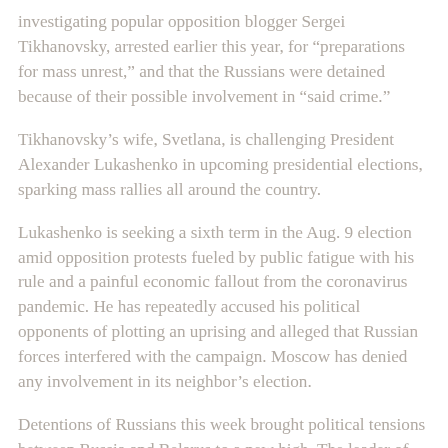investigating popular opposition blogger Sergei Tikhanovsky, arrested earlier this year, for “preparations for mass unrest,” and that the Russians were detained because of their possible involvement in “said crime.”
Tikhanovsky’s wife, Svetlana, is challenging President Alexander Lukashenko in upcoming presidential elections, sparking mass rallies all around the country.
Lukashenko is seeking a sixth term in the Aug. 9 election amid opposition protests fueled by public fatigue with his rule and a painful economic fallout from the coronavirus pandemic. He has repeatedly accused his political opponents of plotting an uprising and alleged that Russian forces interfered with the campaign. Moscow has denied any involvement in its neighbor’s election.
Detentions of Russians this week brought political tensions between Russia and Belarus to a new high. The leader of Belarus accused Russia of harboring “dirty intentions”